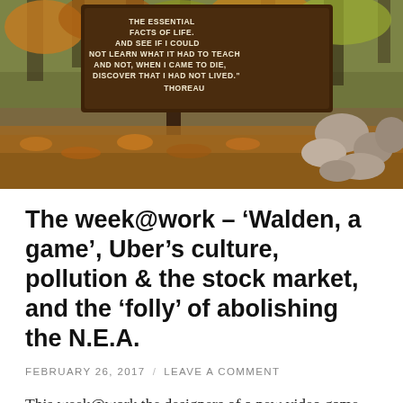[Figure (photo): Outdoor woodland scene with a wooden sign featuring a Thoreau quote: 'THE ESSENTIAL FACTS OF LIFE. AND SEE IF I COULD NOT LEARN WHAT IT HAD TO TEACH AND NOT, WHEN I CAME TO DIE, DISCOVER THAT I HAD NOT LIVED.' THOREAU. Fallen autumn leaves on the ground, rocks and trees in the background.]
The week@work – ‘Walden, a game’, Uber’s culture, pollution & the stock market, and the ‘folly’ of abolishing the N.E.A.
FEBRUARY 26, 2017  /  LEAVE A COMMENT
This week@work the designers of a new video game would like us to take a walk in the woods, a former Uber engineer authored a blog post that opened a